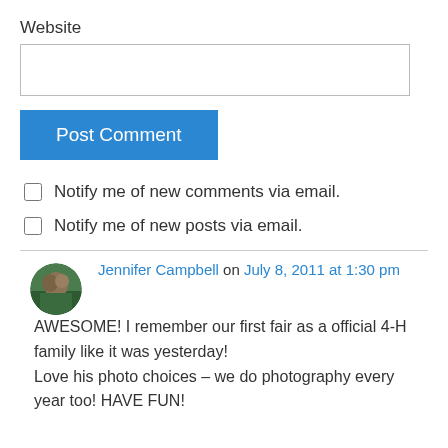Website
Post Comment
Notify me of new comments via email.
Notify me of new posts via email.
Jennifer Campbell on July 8, 2011 at 1:30 pm
AWESOME! I remember our first fair as a official 4-H family like it was yesterday! Love his photo choices – we do photography every year too! HAVE FUN!